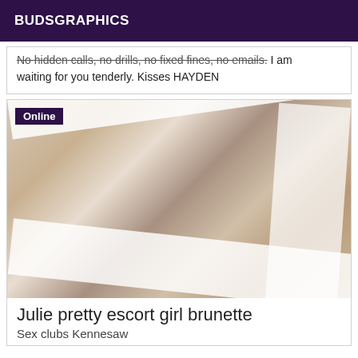BUDSGRAPHICS
No hidden calls, no drills, no fixed fines, no emails. I am waiting for you tenderly. Kisses HAYDEN
[Figure (photo): Photo of a person in white lace lingerie with white fabric/sheets, with an 'Online' badge overlay in the top left corner.]
Julie pretty escort girl brunette
Sex clubs Kennesaw